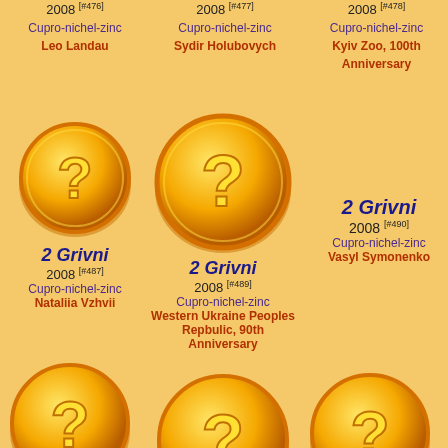2008 [#476] Cupro-nichel-zinc Leo Landau
2008 [#477] Cupro-nichel-zinc Sydir Holubovych
2008 [#478] Cupro-nichel-zinc Kyiv Zoo, 100th Anniversary
[Figure (illustration): Gold coin with question mark - coin #487]
2 Grivni 2008 [#487] Cupro-nichel-zinc Nataliia Vzhvii
[Figure (illustration): Gold coin with question mark - coin #489]
2 Grivni 2008 [#489] Cupro-nichel-zinc Western Ukraine Peoples Repbulic, 90th Anniversary
2 Grivni 2008 [#490] Cupro-nichel-zinc Vasyl Symonenko
[Figure (illustration): Gold coin with question mark - bottom left]
[Figure (illustration): Gold coin with question mark - bottom center]
[Figure (illustration): Gold coin with question mark - bottom right (partial)]